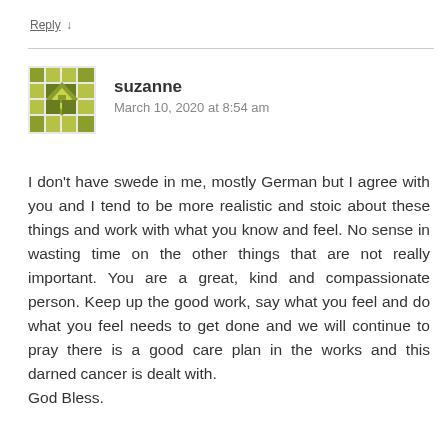Reply ↓
[Figure (illustration): Green pixel/mosaic style avatar icon for user suzanne]
suzanne
March 10, 2020 at 8:54 am
I don't have swede in me, mostly German but I agree with you and I tend to be more realistic and stoic about these things and work with what you know and feel. No sense in wasting time on the other things that are not really important. You are a great, kind and compassionate person. Keep up the good work, say what you feel and do what you feel needs to get done and we will continue to pray there is a good care plan in the works and this darned cancer is dealt with.
God Bless.